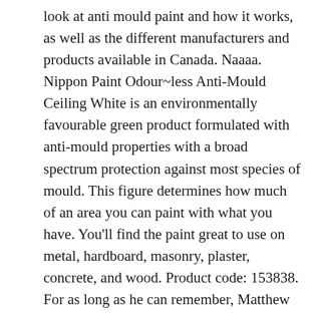look at anti mould paint and how it works, as well as the different manufacturers and products available in Canada. Naaaa. Nippon Paint Odour~less Anti-Mould Ceiling White is an environmentally favourable green product formulated with anti-mould properties with a broad spectrum protection against most species of mould. This figure determines how much of an area you can paint with what you have. You'll find the paint great to use on metal, hardboard, masonry, plaster, concrete, and wood. Product code: 153838. For as long as he can remember, Matthew has always found great pleasure in taking things apart and learning how to put them back together. Diamond Brite Exterior Paint 31000 All-Purpose Oil-based Enamel Paint. The paint is tintable to off-white, pastel and medium colors. Here are a few of our recommended anti-mould sprays, which help remove brown and black mould, fungus and algae.They also help control re-growth. It can be used for bedrooms, living